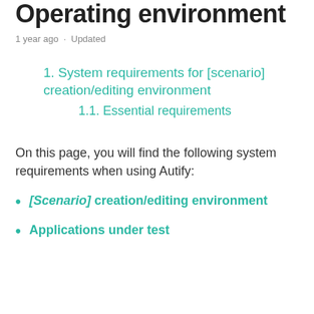Operating environment
1 year ago · Updated
1. System requirements for [scenario] creation/editing environment
1.1. Essential requirements
On this page, you will find the following system requirements when using Autify:
[Scenario] creation/editing environment
Applications under test